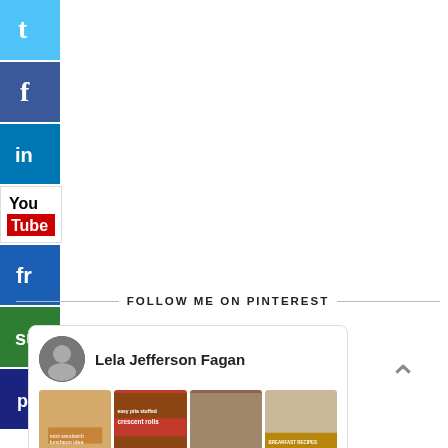[Figure (illustration): Vertical social media icon bar with Twitter, Facebook, LinkedIn, YouTube, FriendFeed, StumbleUpon, and another social icon buttons]
FOLLOW ME ON PINTEREST
[Figure (screenshot): Pinterest widget card showing profile of Lela Jefferson Fagan with food recipe images below]
[Figure (illustration): Back to top arrow chevron icon]